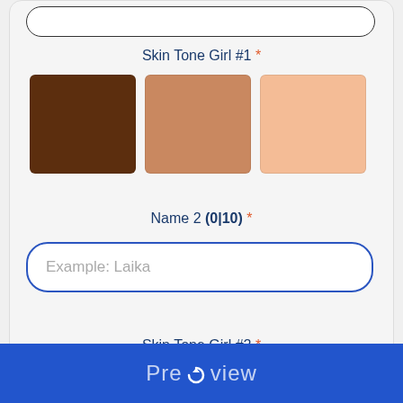Skin Tone Girl #1 *
[Figure (other): Three skin tone color swatches: dark brown, medium tan, light peach]
Name 2 (0|10) *
Example: Laika
Skin Tone Girl #2 *
[Figure (other): Three skin tone color swatches: dark brown, medium tan, light peach]
Help
Preview